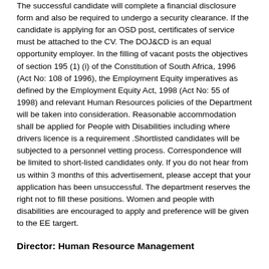The successful candidate will complete a financial disclosure form and also be required to undergo a security clearance. If the candidate is applying for an OSD post, certificates of service must be attached to the CV. The DOJ&CD is an equal opportunity employer. In the filling of vacant posts the objectives of section 195 (1) (i) of the Constitution of South Africa, 1996 (Act No: 108 of 1996), the Employment Equity imperatives as defined by the Employment Equity Act, 1998 (Act No: 55 of 1998) and relevant Human Resources policies of the Department will be taken into consideration. Reasonable accommodation shall be applied for People with Disabilities including where drivers licence is a requirement .Shortlisted candidates will be subjected to a personnel vetting process. Correspondence will be limited to short-listed candidates only. If you do not hear from us within 3 months of this advertisement, please accept that your application has been unsuccessful. The department reserves the right not to fill these positions. Women and people with disabilities are encouraged to apply and preference will be given to the EE targert.
Director: Human Resource Management
Reference: 035/15AWC (Re-Advertisement)